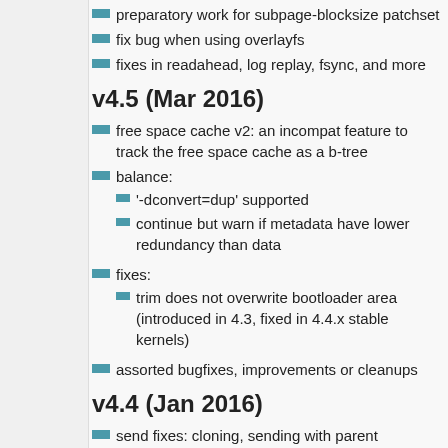preparatory work for subpage-blocksize patchset
fix bug when using overlayfs
fixes in readahead, log replay, fsync, and more
v4.5 (Mar 2016)
free space cache v2: an incompat feature to track the free space cache as a b-tree
balance:
'-dconvert=dup' supported
continue but warn if metadata have lower redundancy than data
fixes:
trim does not overwrite bootloader area (introduced in 4.3, fixed in 4.4.x stable kernels)
assorted bugfixes, improvements or cleanups
v4.4 (Jan 2016)
send fixes: cloning, sending with parent
improved handling of framgented space